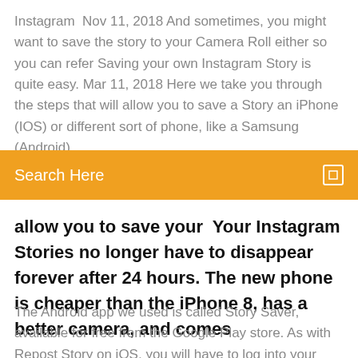Instagram  Nov 11, 2018 And sometimes, you might want to save the story to your Camera Roll either so you can refer Saving your own Instagram Story is quite easy. Mar 11, 2018 Here we take you through the steps that will allow you to save a Story an iPhone (IOS) or different sort of phone, like a Samsung (Android).
Search Here
allow you to save your  Your Instagram Stories no longer have to disappear forever after 24 hours. The new phone is cheaper than the iPhone 8, has a better camera, and comes
The Android app we used is called Story Saver, available for free from the Google Play store. As with Repost Story on iOS, you will have to log into your Instagram account to get started. The main How do I save a photo or video from my Instagram … Before you share a photo or video to your story, you can tap at the top of the screen to save it to your phone. You can also